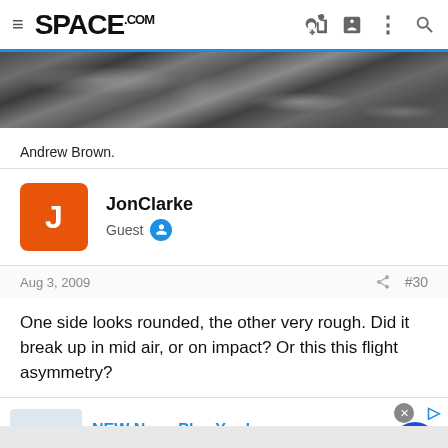SPACE.com
[Figure (photo): Grayscale close-up image of a rocky/cratered planetary or lunar surface]
Andrew Brown.
JonClarke
Guest
Aug 3, 2009  #30
One side looks rounded, the other very rough. Did it break up in mid air, or on impact? Or this this flight asymmetry?
[Figure (screenshot): Advertisement for NEW Nuna Play Yards by albeebaby.com, showing a baby play yard product image, text 'sena aire + cove aire go', and URL www.albeebaby.com]